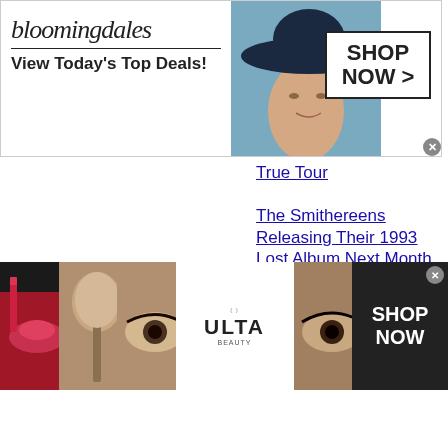[Figure (screenshot): Bloomingdales advertisement banner with logo, 'View Today's Top Deals!' tagline, fashion model with large hat, and 'SHOP NOW >' button]
True Tour
The Smithereens Releasing Their 1993 Lost Album Next Month
Metallica Rock 'Moth Into Flame' In
[Figure (screenshot): Ulta Beauty advertisement banner with makeup images (lips, brush, eye), Ulta logo, and 'SHOP NOW' button]